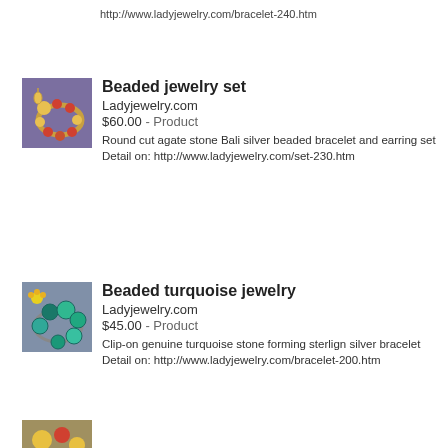http://www.ladyjewelry.com/bracelet-240.htm
Beaded jewelry set
Ladyjewelry.com
$60.00 - Product
Round cut agate stone Bali silver beaded bracelet and earring set Detail on: http://www.ladyjewelry.com/set-230.htm
[Figure (photo): Thumbnail image of beaded jewelry set on purple background]
Beaded turquoise jewelry
Ladyjewelry.com
$45.00 - Product
Clip-on genuine turquoise stone forming sterlign silver bracelet Detail on: http://www.ladyjewelry.com/bracelet-200.htm
[Figure (photo): Thumbnail image of turquoise beaded bracelet]
[Figure (photo): Partial thumbnail of third jewelry item at bottom]